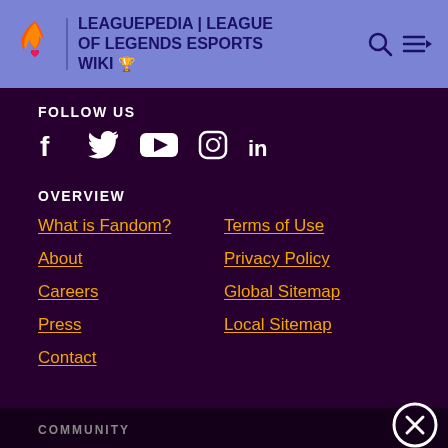LEAGUEPEDIA | LEAGUE OF LEGENDS ESPORTS WIKI
FOLLOW US
[Figure (illustration): Social media icons: Facebook, Twitter, YouTube, Instagram, LinkedIn]
OVERVIEW
What is Fandom?
Terms of Use
About
Privacy Policy
Careers
Global Sitemap
Press
Local Sitemap
Contact
COMMUNITY